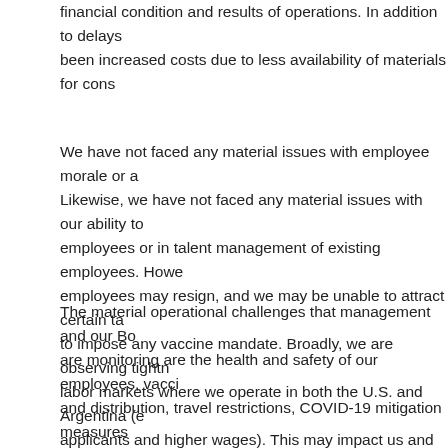financial condition and results of operations. In addition to delays been increased costs due to less availability of materials for cons
We have not faced any material issues with employee morale or a Likewise, we have not faced any material issues with our ability to employees or in talent management of existing employees. Howe employees may resign, and we may be unable to attract certain ta to impose any vaccine mandate. Broadly, we are observing tightn labor markets where we operate in both the U.S. and Argentina (e applicants and higher wages). This may impact us and our expans customers and suppliers in the future.
The material operational challenges that management and our Bo are monitoring are the health and safety of our employees, vacci and distribution, travel restrictions, COVID-19 mitigation measures relaxation of work from home requirements, the restriction of mo and between countries, and supply chain and logistics issues. Fu Board of Directors is monitoring the additional expected and unex that COVID-19 is having on the economies in the countries whe